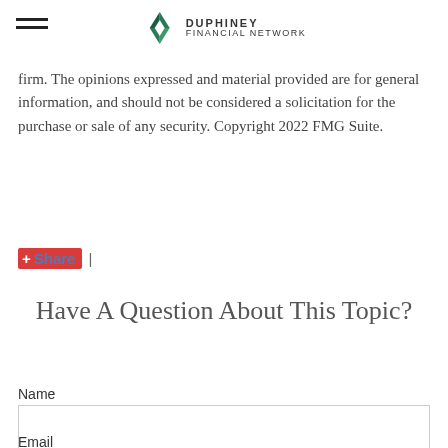DUPHINEY FINANCIAL NETWORK
firm. The opinions expressed and material provided are for general information, and should not be considered a solicitation for the purchase or sale of any security. Copyright 2022 FMG Suite.
Share |
Have A Question About This Topic?
Name
Email